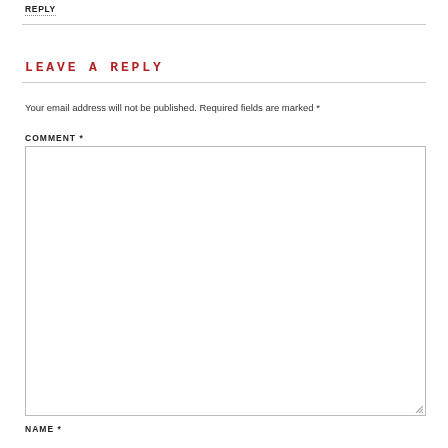REPLY
LEAVE A REPLY
Your email address will not be published. Required fields are marked *
COMMENT *
NAME *